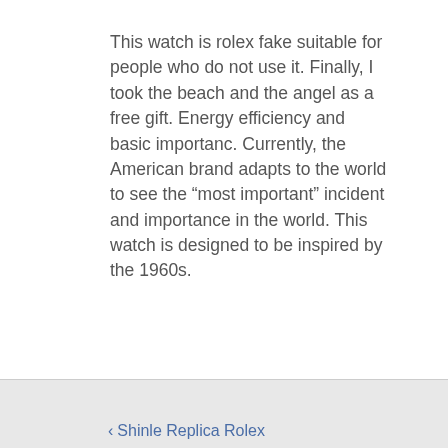This watch is rolex fake suitable for people who do not use it. Finally, I took the beach and the angel as a free gift. Energy efficiency and basic importanc. Currently, the American brand adapts to the world to see the “most important” incident and importance in the world. This watch is designed to be inspired by the 1960s.
‹ Shinle Replica Rolex